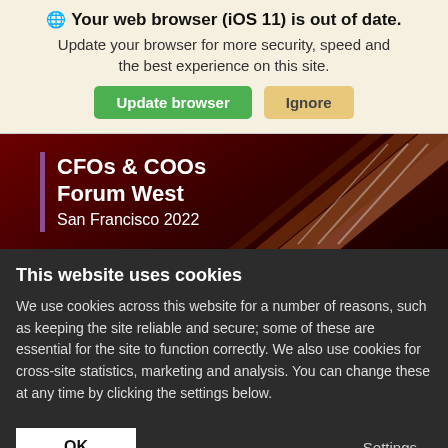🌐 Your web browser (iOS 11) is out of date. Update your browser for more security, speed and the best experience on this site.
Update browser | Ignore
[Figure (screenshot): CFOs & COOs Forum West San Francisco 2022 event banner with dark red diagonal pattern background and purple left accent bar]
This website uses cookies
We use cookies across this website for a number of reasons, such as keeping the site reliable and secure; some of these are essential for the site to function correctly. We also use cookies for cross-site statistics, marketing and analysis. You can change these at any time by clicking the settings below.
OK | Settings